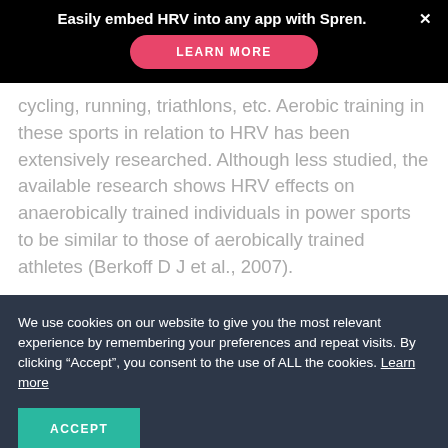Easily embed HRV into any app with Spren.  ×
LEARN MORE
cycling, running, triathlons, etc. Aerobic training in these sports in relation to HRV has been extensively researched. Although less studied, the available research shows HRV effects on anaerobically trained individuals in power sports to be similar to those of aerobically trained athletes (Berkoff D J et al., 2007).
We use cookies on our website to give you the most relevant experience by remembering your preferences and repeat visits. By clicking “Accept”, you consent to the use of ALL the cookies. Learn more
ACCEPT